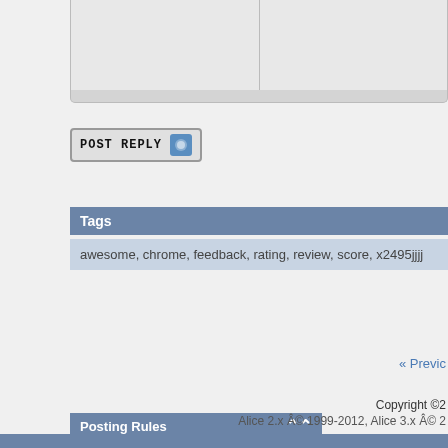[Figure (screenshot): Top portion of a forum reply form showing two empty input cells in a table layout]
[Figure (screenshot): POST REPLY button with blue icon]
Tags
awesome, chrome, feedback, rating, review, score, x2495jjjj
« Previc
Posting Rules
You may not post new threads
You may not post replies
You may not post attachments
You may not edit your posts
BB code is On
Smilies are On
[IMG] code is On
HTML code is Off
Forum Rules
Copyright ©2  Alice 2.x Â© 1999-2012, Alice 3.x Â© 2